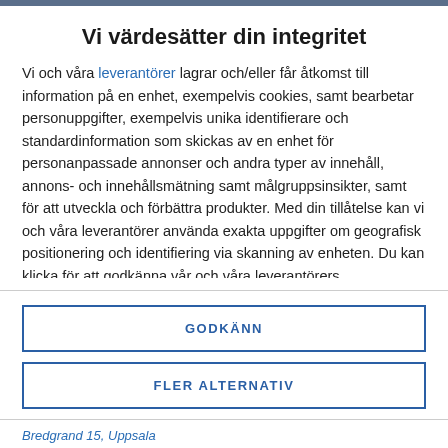Vi värdesätter din integritet
Vi och våra leverantörer lagrar och/eller får åtkomst till information på en enhet, exempelvis cookies, samt bearbetar personuppgifter, exempelvis unika identifierare och standardinformation som skickas av en enhet för personanpassade annonser och andra typer av innehåll, annons- och innehållsmätning samt målgruppsinsikter, samt för att utveckla och förbättra produkter. Med din tillåtelse kan vi och våra leverantörer använda exakta uppgifter om geografisk positionering och identifiering via skanning av enheten. Du kan klicka för att godkänna vår och våra leverantörers uppgiftsbehandling enligt beskrivningen ovan. Alternativt kan du få åtkomst till mer detaljerad information och ändra dina inställningar innan du samtycker eller för att neka
GODKÄNN
FLER ALTERNATIV
Bredgrand 15, Uppsala